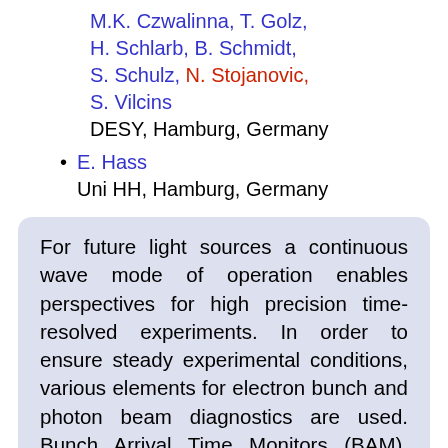M.K. Czwalinna, T. Golz, H. Schlarb, B. Schmidt, S. Schulz, N. Stojanovic, S. Vilcins
DESY, Hamburg, Germany
E. Hass
Uni HH, Hamburg, Germany
For future light sources a continuous wave mode of operation enables perspectives for high precision time-resolved experiments. In order to ensure steady experimental conditions, various elements for electron bunch and photon beam diagnostics are used. Bunch Arrival Time Monitors (BAM), Bunch Compression Monitors (BCM), Electro-optical Sampling (EOS) and new types of THz-diagnostic are essential for the understanding of the machine's behavior to generate stable, secondary radia-